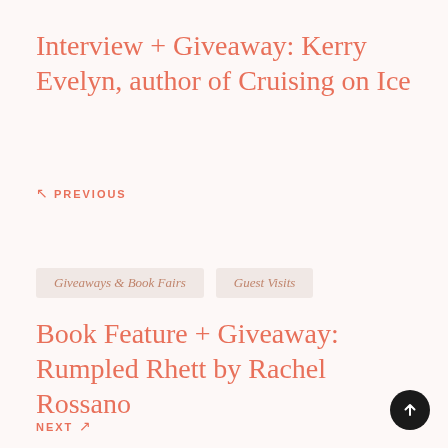Interview + Giveaway: Kerry Evelyn, author of Cruising on Ice
↖ PREVIOUS
Giveaways & Book Fairs   Guest Visits
Book Feature + Giveaway: Rumpled Rhett by Rachel Rossano
NEXT ↗